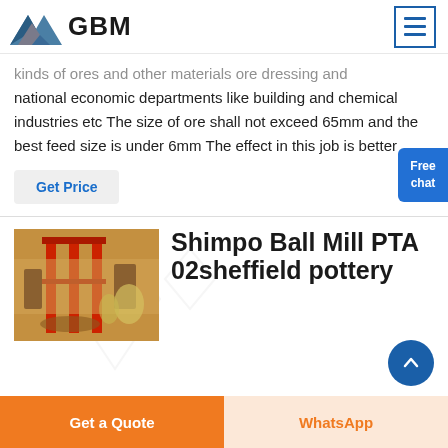GBM
kinds of ores and other materials ore dressing and national economic departments like building and chemical industries etc The size of ore shall not exceed 65mm and the best feed size is under 6mm The effect in this job is better
Get Price
[Figure (photo): Industrial ball mill / grinding equipment with red metal frame structure]
Shimpo Ball Mill PTA 02sheffield pottery
Get a Quote   WhatsApp